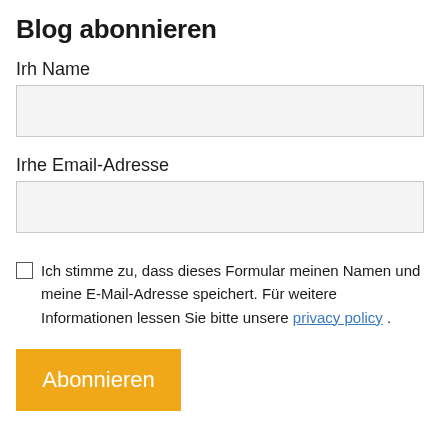Blog abonnieren
Irh Name
[Figure (other): Empty text input field for name]
Irhe Email-Adresse
[Figure (other): Empty text input field for email address]
Ich stimme zu, dass dieses Formular meinen Namen und meine E-Mail-Adresse speichert. Für weitere Informationen lessen Sie bitte unsere privacy policy .
[Figure (other): Subscribe button labeled Abonnieren with orange/yellow background]